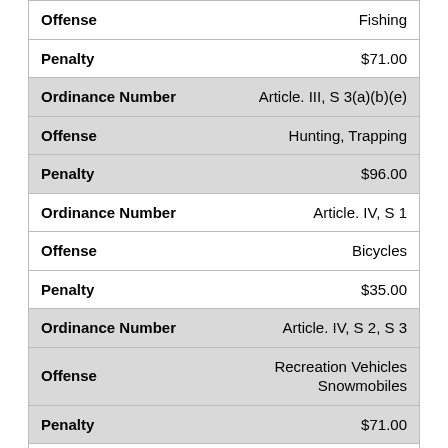| Field | Value |
| --- | --- |
| Offense | Fishing |
| Penalty | $71.00 |
| Ordinance Number | Article. III, S 3(a)(b)(e) |
| Offense | Hunting, Trapping |
| Penalty | $96.00 |
| Ordinance Number | Article. IV, S 1 |
| Offense | Bicycles |
| Penalty | $35.00 |
| Ordinance Number | Article. IV, S 2, S 3 |
| Offense | Recreation Vehicles Snowmobiles |
| Penalty | $71.00 |
| Ordinance Number | Article. V, S 1-3 |
| Off... | N... |